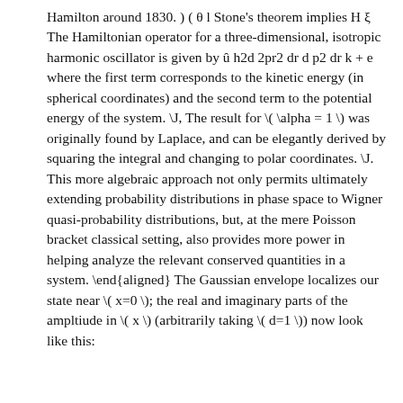Hamilton around 1830. ) ( θ l Stone's theorem implies H ξ The Hamiltonian operator for a three-dimensional, isotropic harmonic oscillator is given by û h2d 2pr2 dr d p2 dr k + e where the first term corresponds to the kinetic energy (in spherical coordinates) and the second term to the potential energy of the system. \J, The result for \( \alpha = 1 \) was originally found by Laplace, and can be elegantly derived by squaring the integral and changing to polar coordinates. \J. This more algebraic approach not only permits ultimately extending probability distributions in phase space to Wigner quasi-probability distributions, but, at the mere Poisson bracket classical setting, also provides more power in helping analyze the relevant conserved quantities in a system. \end{aligned} The Gaussian envelope localizes our state near \( x=0 \); the real and imaginary parts of the ampltiude in \( x \) (arbitrarily taking \( d=1 \)) now look like this: